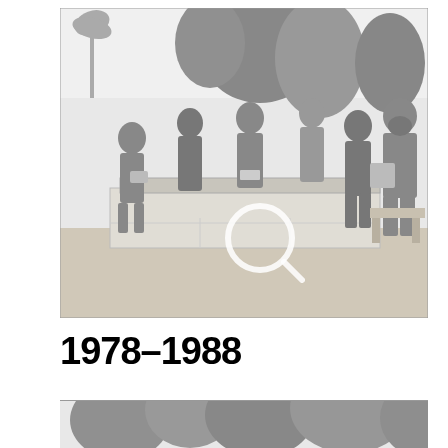[Figure (photo): Black and white photograph of a group of people (men and women in swimwear/summer clothes) standing around an outdoor concrete block grill/barbecue area, with trees in the background. A magnifying glass icon is overlaid on the image.]
1978–1988
[Figure (photo): Partial black and white photograph showing the tops of trees, cropped at the bottom of the page.]